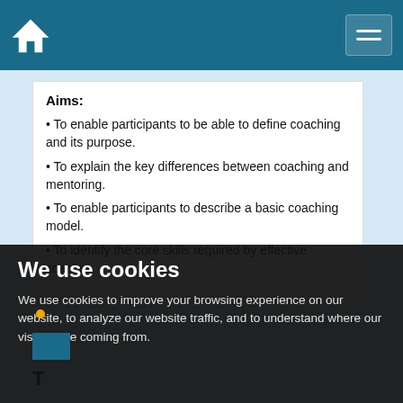Home navigation header with hamburger menu
Aims:
To enable participants to be able to define coaching and its purpose.
To explain the key differences between coaching and mentoring.
To enable participants to describe a basic coaching model.
To identify the core skills required by effective coaches.
We use cookies
We use cookies to improve your browsing experience on our website, to analyze our website traffic, and to understand where our visitors are coming from.